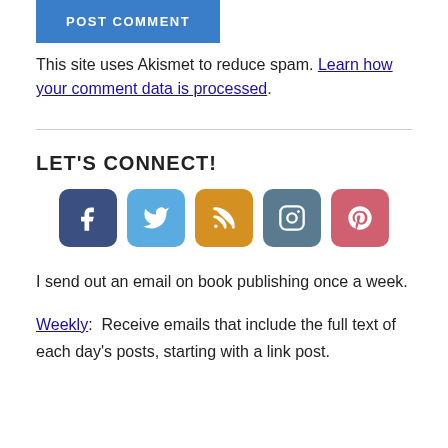POST COMMENT
This site uses Akismet to reduce spam. Learn how your comment data is processed.
LET'S CONNECT!
[Figure (infographic): Row of five social media icon buttons: Facebook (dark blue), Twitter (light blue), RSS (orange/gold), Instagram (slate blue), Pinterest (pink/rose)]
I send out an email on book publishing once a week.
Weekly:  Receive emails that include the full text of each day's posts, starting with a link post.